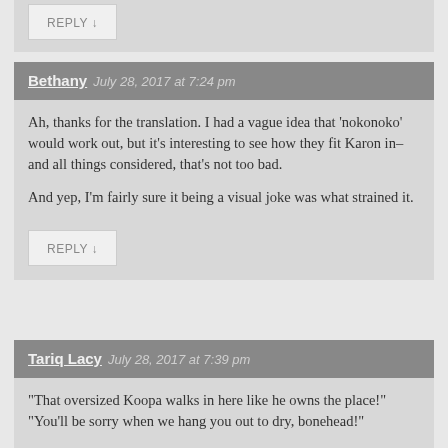REPLY ↓
Bethany   July 28, 2017 at 7:24 pm
Ah, thanks for the translation. I had a vague idea that 'nokonoko' would work out, but it's interesting to see how they fit Karon in– and all things considered, that's not too bad.

And yep, I'm fairly sure it being a visual joke was what strained it.
REPLY ↓
Tariq Lacy   July 28, 2017 at 7:39 pm
"That oversized Koopa walks in here like he owns the place!"
"You'll be sorry when we hang you out to dry, bonehead!"